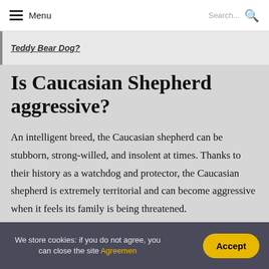Menu | Search...
Teddy Bear Dog?
Is Caucasian Shepherd aggressive?
An intelligent breed, the Caucasian shepherd can be stubborn, strong-willed, and insolent at times. Thanks to their history as a watchdog and protector, the Caucasian shepherd is extremely territorial and can become aggressive when it feels its family is being threatened.
We store cookies: if you do not agree, you can close the site Agreemen | Accept